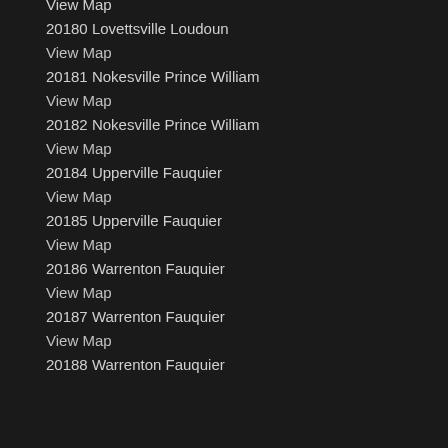View Map
20180 Lovettsville Loudoun
View Map
20181 Nokesville Prince William
View Map
20182 Nokesville Prince William
View Map
20184 Upperville Fauquier
View Map
20185 Upperville Fauquier
View Map
20186 Warrenton Fauquier
View Map
20187 Warrenton Fauquier
View Map
20188 Warrenton Fauquier